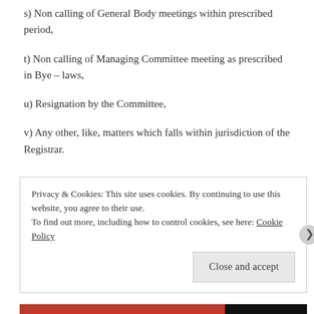s) Non calling of General Body meetings within prescribed period,
t) Non calling of Managing Committee meeting as prescribed in Bye – laws,
u) Resignation by the Committee,
v) Any other, like, matters which falls within jurisdiction of the Registrar.
Privacy & Cookies: This site uses cookies. By continuing to use this website, you agree to their use.
To find out more, including how to control cookies, see here: Cookie Policy